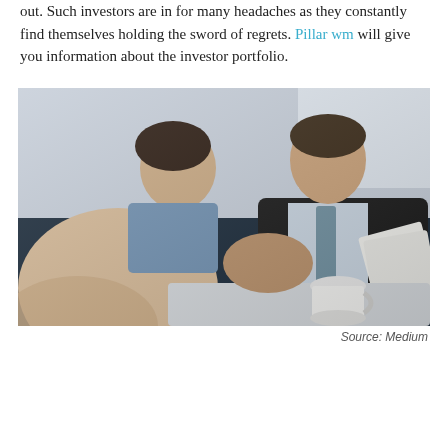out. Such investors are in for many headaches as they constantly find themselves holding the sword of regrets. Pillar wm will give you information about the investor portfolio.
[Figure (photo): Two people (a woman and a man) seated on a dark blue sofa in a business meeting, smiling. A suited professional man holds documents and appears to be explaining something. A white coffee cup sits on a table in the foreground.]
Source: Medium